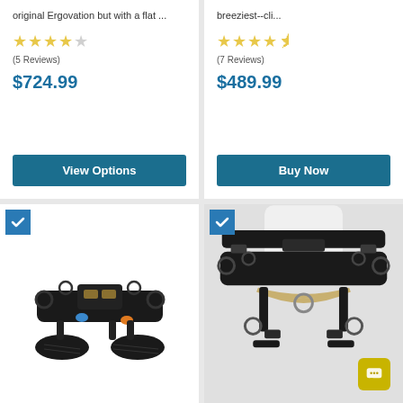original Ergovation but with a flat ...
(5 Reviews)
$724.99
View Options
breeziest--cli...
(7 Reviews)
$489.99
Buy Now
[Figure (photo): Black climbing/arborist harness with multiple D-rings and carabiners, laid flat]
[Figure (photo): Black arborist saddle/harness worn on a mannequin torso, showing multiple D-rings and rope connections]